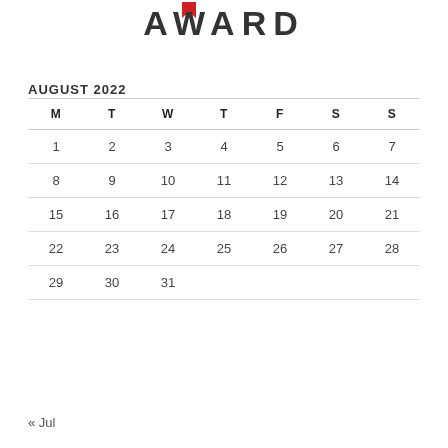AWARD
AUGUST 2022
| M | T | W | T | F | S | S |
| --- | --- | --- | --- | --- | --- | --- |
| 1 | 2 | 3 | 4 | 5 | 6 | 7 |
| 8 | 9 | 10 | 11 | 12 | 13 | 14 |
| 15 | 16 | 17 | 18 | 19 | 20 | 21 |
| 22 | 23 | 24 | 25 | 26 | 27 | 28 |
| 29 | 30 | 31 |  |  |  |  |
« Jul